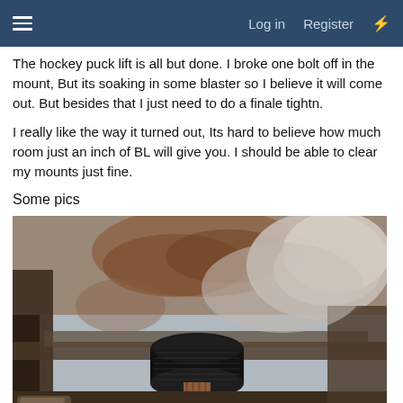≡  Log in  Register  ⚡
The hockey puck lift is all but done. I broke one bolt off in the mount, But its soaking in some blaster so I believe it will come out. But besides that I just need to do a finale tightn.
I really like the way it turned out, Its hard to believe how much room just an inch of BL will give you. I should be able to clear my mounts just fine.
Some pics
[Figure (photo): Undercarriage photo showing a hockey puck body lift spacer installed between the frame and body mount, with rusted metal components and suspension parts visible]